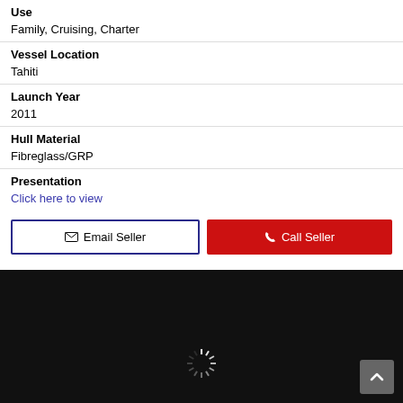Use
Family, Cruising, Charter
Vessel Location
Tahiti
Launch Year
2011
Hull Material
Fibreglass/GRP
Presentation
Click here to view
Email Seller  Call Seller
[Figure (other): Dark black section at the bottom with a loading spinner and a scroll-to-top button]